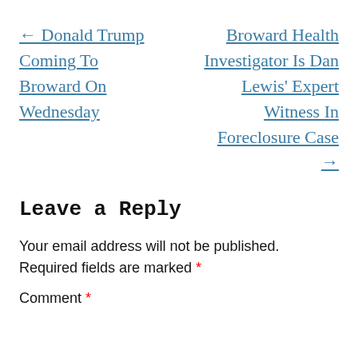← Donald Trump Coming To Broward On Wednesday
Broward Health Investigator Is Dan Lewis' Expert Witness In Foreclosure Case →
Leave a Reply
Your email address will not be published. Required fields are marked *
Comment *